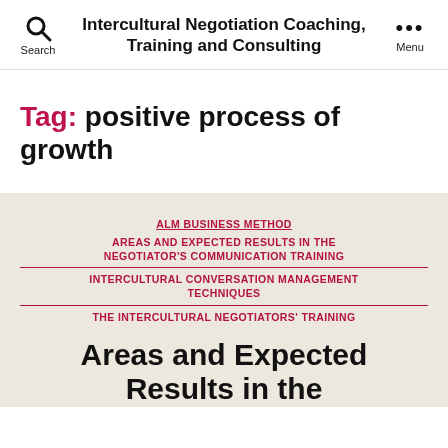Intercultural Negotiation Coaching, Training and Consulting
Tag: positive process of growth
ALM BUSINESS METHOD
AREAS AND EXPECTED RESULTS IN THE NEGOTIATOR'S COMMUNICATION TRAINING
INTERCULTURAL CONVERSATION MANAGEMENT TECHNIQUES
THE INTERCULTURAL NEGOTIATORS' TRAINING
Areas and Expected Results in the